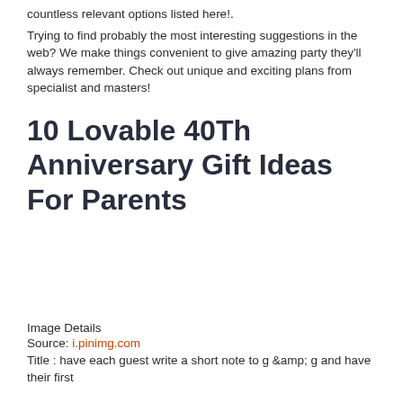countless relevant options listed here!.
Trying to find probably the most interesting suggestions in the web? We make things convenient to give amazing party they'll always remember. Check out unique and exciting plans from specialist and masters!
10 Lovable 40Th Anniversary Gift Ideas For Parents
[Figure (photo): Blank image placeholder area]
Image Details
Source: i.pinimg.com
Title : have each guest write a short note to g &amp;amp; g and have their first